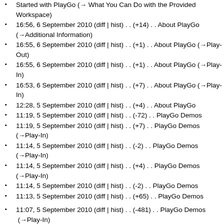Started with PlayGo (→ What You Can Do with the Provided Workspace)
16:56, 6 September 2010 (diff | hist) . . (+14) . . About PlayGo (→Additional Information)
16:55, 6 September 2010 (diff | hist) . . (+1) . . About PlayGo (→Play-Out)
16:55, 6 September 2010 (diff | hist) . . (+1) . . About PlayGo (→Play-In)
16:53, 6 September 2010 (diff | hist) . . (+7) . . About PlayGo (→Play-In)
12:28, 5 September 2010 (diff | hist) . . (+4) . . About PlayGo
11:19, 5 September 2010 (diff | hist) . . (-72) . . PlayGo Demos
11:19, 5 September 2010 (diff | hist) . . (+7) . . PlayGo Demos (→Play-In)
11:14, 5 September 2010 (diff | hist) . . (-2) . . PlayGo Demos (→Play-In)
11:14, 5 September 2010 (diff | hist) . . (+4) . . PlayGo Demos (→Play-In)
11:14, 5 September 2010 (diff | hist) . . (-2) . . PlayGo Demos
11:13, 5 September 2010 (diff | hist) . . (+65) . . PlayGo Demos
11:07, 5 September 2010 (diff | hist) . . (-481) . . PlayGo Demos  (→Play-In)
11:06, 5 September 2010 (diff | hist) . . (-97) . . PlayGo Demos
11:06, 5 September 2010 (diff | hist) . . (+17) . . PlayGo Demos